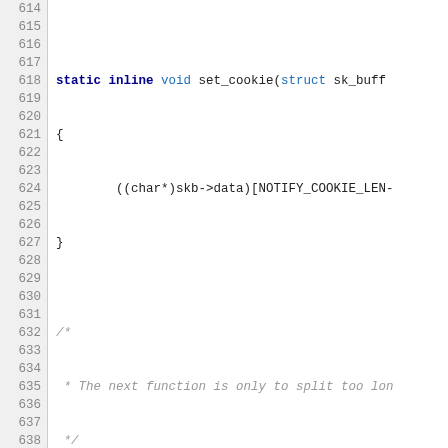[Figure (screenshot): Source code listing (C language) showing lines 614–644, including set_cookie and __do_notify function definitions with syntax highlighting. Line numbers in a grey sidebar on the left.]